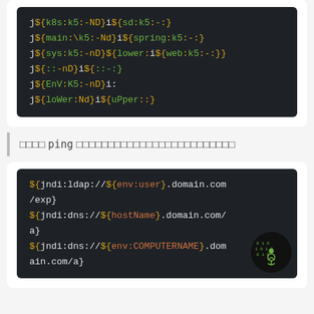[Figure (screenshot): Dark-themed code block showing obfuscated Log4Shell/JNDI injection bypass strings with green and orange syntax highlighting]
□□□□ ping □□□□□□□□□□□□□□□□□□□□□□□□□
[Figure (screenshot): Dark-themed code block showing JNDI injection strings using ldap and dns protocols with env variable lookups]